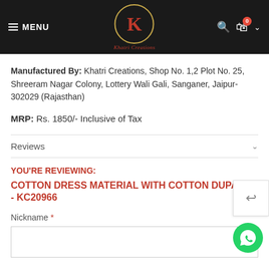MENU | Khatri Creations logo | Search | Cart 0
Manufactured By: Khatri Creations, Shop No. 1,2 Plot No. 25, Shreeram Nagar Colony, Lottery Wali Gali, Sanganer, Jaipur-302029 (Rajasthan)
MRP: Rs. 1850/- Inclusive of Tax
Reviews
YOU'RE REVIEWING: COTTON DRESS MATERIAL WITH COTTON DUPATTA - KC20966
Nickname *